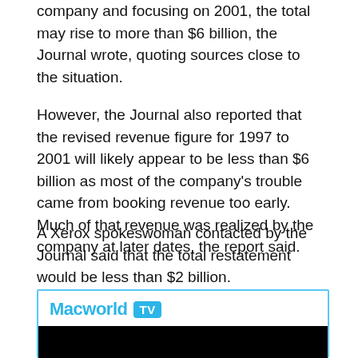company and focusing on 2001, the total may rise to more than $6 billion, the Journal wrote, quoting sources close to the situation.
However, the Journal also reported that the revised revenue figure for 1997 to 2001 will likely appear to be less than $6 billion as most of the company's trouble came from booking revenue too early. Much of that revenue was realized by the company at later dates, the report said.
A Xerox spokeswoman contacted by the Journal said that the total restatement would be less than $2 billion.
[Figure (screenshot): Macworld TV banner with cyan/blue text logo and badge, followed by a black video area]